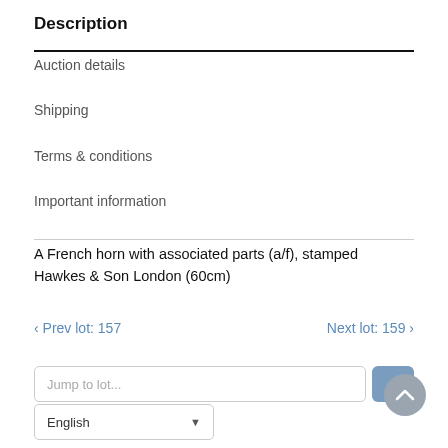Description
Auction details
Shipping
Terms & conditions
Important information
A French horn with associated parts (a/f), stamped Hawkes & Son London (60cm)
‹ Prev lot: 157    Next lot: 159 ›
Jump to lot...
English